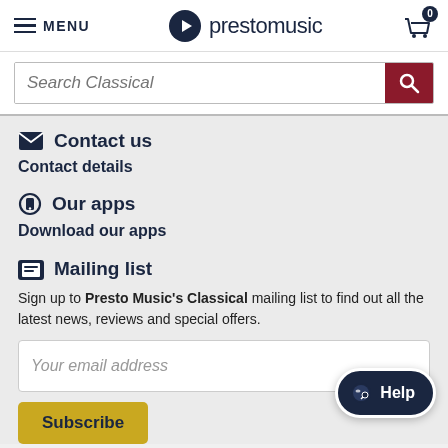MENU | prestomusic | Cart: 0
[Figure (screenshot): Search bar with placeholder 'Search Classical' and dark red search button]
Contact us
Contact details
Our apps
Download our apps
Mailing list
Sign up to Presto Music's Classical mailing list to find out all the latest news, reviews and special offers.
[Figure (screenshot): Email input field with placeholder 'Your email address']
Subscribe